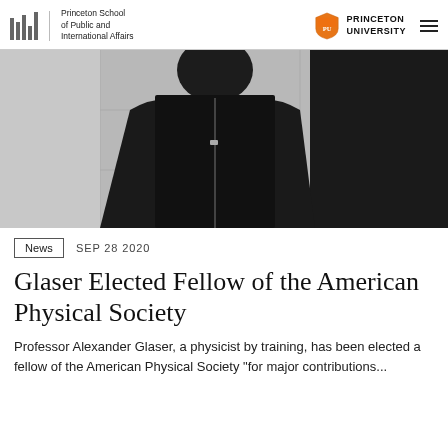Princeton School of Public and International Affairs | PRINCETON UNIVERSITY
[Figure (photo): A person wearing a black zip-up jacket standing against a white tiled wall background]
News   SEP 28 2020
Glaser Elected Fellow of the American Physical Society
Professor Alexander Glaser, a physicist by training, has been elected a fellow of the American Physical Society "for major contributions...